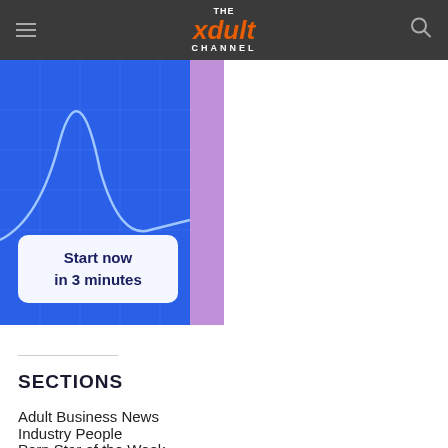THE xdult CHANNEL
[Figure (illustration): Advertisement banner with blue/purple gradient background showing a graph/chart line and a white rounded rectangle button with text 'Start now in 3 minutes' in dark navy bold font]
SECTIONS
Adult Business News
Industry People
Porn Star of the Week